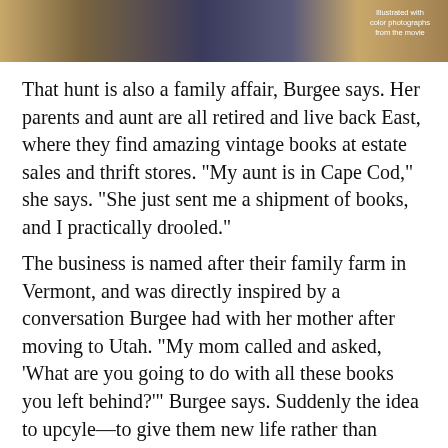[Figure (photo): A cropped photo strip at the top of the page showing book covers or shelving with warm brown and blue tones. Text overlay reads 'Illustrated with color photographs from the movie'.]
That hunt is also a family affair, Burgee says. Her parents and aunt are all retired and live back East, where they find amazing vintage books at estate sales and thrift stores. "My aunt is in Cape Cod," she says. "She just sent me a shipment of books, and I practically drooled."
The business is named after their family farm in Vermont, and was directly inspired by a conversation Burgee had with her mother after moving to Utah. "My mom called and asked, 'What are you going to do with all these books you left behind?'" Burgee says. Suddenly the idea to upcyle—to give them new life rather than sending them to the dump—was born.